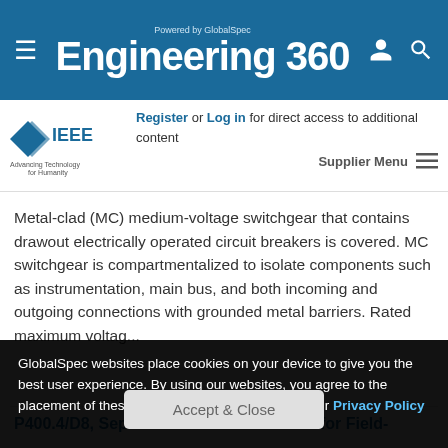Powered by GlobalSpec Engineering 360
[Figure (logo): IEEE Advancing Technology for Humanity logo]
Register or Log in for direct access to additional content
Supplier Menu
Metal-clad (MC) medium-voltage switchgear that contains drawout electrically operated circuit breakers is covered. MC switchgear is compartmentalized to isolate components such as instrumentation, main bus, and both incoming and outgoing connections with grounded metal barriers. Rated maximum voltag...
P400.4/D8, Sept 2014 - IEEE Draft Guide for Field-
GlobalSpec websites place cookies on your device to give you the best user experience. By using our websites, you agree to the placement of these cookies. To learn more, read our Privacy Policy
Accept & Close